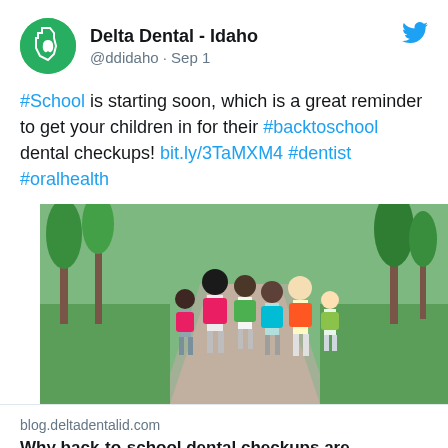Delta Dental - Idaho @ddidaho · Sep 1
#School is starting soon, which is a great reminder to get your children in for their #backtoschool dental checkups! bit.ly/3TaMXM4 #dentist #oralhealth
[Figure (photo): Group of children walking away on a path wearing colorful backpacks, surrounded by green trees and grass]
blog.deltadentalid.com
Why back-to-school dental checkups are important